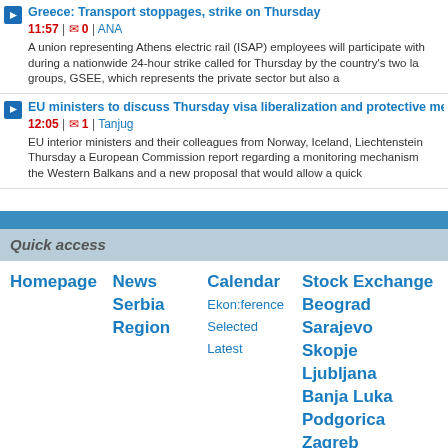Greece: Transport stoppages, strike on Thursday
11:57 | 0 | ANA
A union representing Athens electric rail (ISAP) employees will participate with during a nationwide 24-hour strike called for Thursday by the country's two la groups, GSEE, which represents the private sector but also a
EU ministers to discuss Thursday visa liberalization and protective meas
12:05 | 1 | Tanjug
EU interior ministers and their colleagues from Norway, Iceland, Liechtenstein Thursday a European Commission report regarding a monitoring mechanism the Western Balkans and a new proposal that would allow a quick
Quick access
Homepage
News
Serbia
Region
Calendar
Ekon:ference
Selected
Latest
Stock Exchange
Beograd
Sarajevo
Skopje
Ljubljana
Banja Luka
Podgorica
Zagreb
© 2006-2011 Ekonom:east M Office: | Marketing: | Pretplata web de